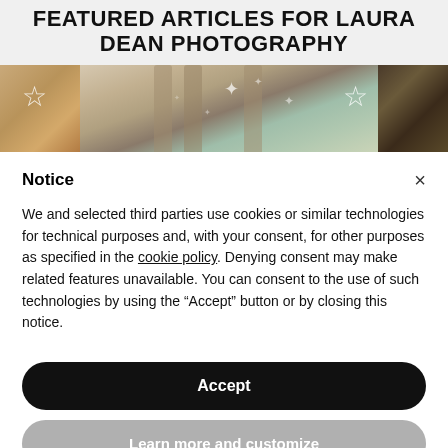FEATURED ARTICLES FOR LAURA DEAN PHOTOGRAPHY
[Figure (photo): A horizontal photo strip showing three images: left shows a floral/warm toned scene, center shows an architectural scene with columns and sparkles/light, right shows a dark foliage scene. Star/bookmark icons appear on the left and right images.]
Notice
We and selected third parties use cookies or similar technologies for technical purposes and, with your consent, for other purposes as specified in the cookie policy. Denying consent may make related features unavailable. You can consent to the use of such technologies by using the “Accept” button or by closing this notice.
Accept
Learn more and customize